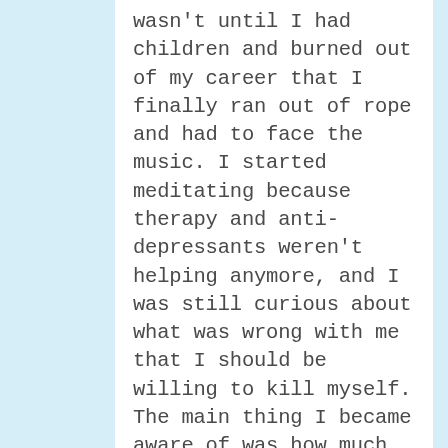wasn't until I had children and burned out of my career that I finally ran out of rope and had to face the music. I started meditating because therapy and anti-depressants weren't helping anymore, and I was still curious about what was wrong with me that I should be willing to kill myself. The main thing I became aware of was how much repressed anger I was carrying. I think the depression was mostly a way of shutting down to protect myself from the anger and the hard-driving behavior it was fueling. I also had very high expectations of myself and life, so I constantly felt that I wasn't good enough and life